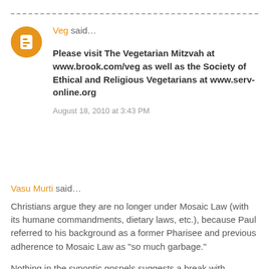Veg said...
Please visit The Vegetarian Mitzvah at www.brook.com/veg as well as the Society of Ethical and Religious Vegetarians at www.serv-online.org
August 18, 2010 at 3:43 PM
Vasu Murti said...
Christians argue they are no longer under Mosaic Law (with its humane commandments, dietary laws, etc.), because Paul referred to his background as a former Pharisee and previous adherence to Mosaic Law as "so much garbage."
Nothing in the synoptic gospels suggests a break with Judaism. Jesus was called "Rabbi," meaning "Master" or "Teacher" 42 times in the